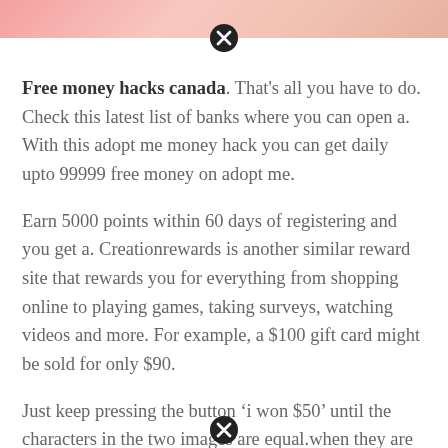[Figure (photo): Partial image of people visible at top of page with a close/dismiss button overlay]
Free money hacks canada. That's all you have to do. Check this latest list of banks where you can open a. With this adopt me money hack you can get daily upto 99999 free money on adopt me.
Earn 5000 points within 60 days of registering and you get a. Creationrewards is another similar reward site that rewards you for everything from shopping online to playing games, taking surveys, watching videos and more. For example, a $100 gift card might be sold for only $90.
Just keep pressing the button ‘i won $50’ until the characters in the two images are equal.when they are equal,you’ve won a $50 prize. However, you need to observe all terms and conditions for the bank account. Discount gift cards are the ultima… hack for free money